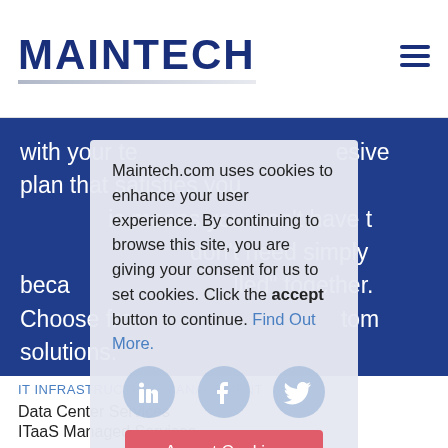MAINTECH
with your te...esive plan that satisfies you...is means you won't have t...don't need simply beca...lled" together. Choose fro...tom solutions:
Maintech.com uses cookies to enhance your user experience. By continuing to browse this site, you are giving your consent for us to set cookies. Click the accept button to continue. Find Out More.
[Figure (infographic): Accept Cookies modal overlay with LinkedIn, Facebook, and Twitter social icons and an Accept Cookies button]
IT INFRASTRUCTURE MANAGEMENT
Data Center Services
ITaaS Managed Services